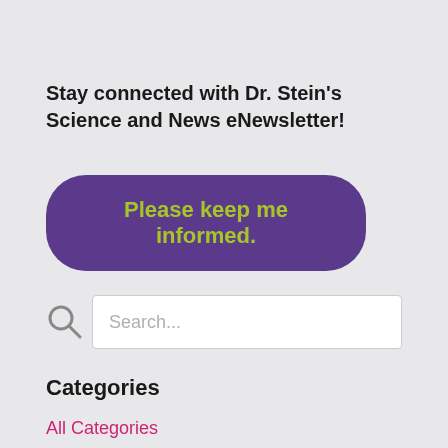Stay connected with Dr. Stein's Science and News eNewsletter!
[Figure (other): Purple rounded button with yellow-green bold text reading 'Please keep me informed.']
[Figure (other): Search bar with magnifying glass icon and placeholder text 'Search...']
Categories
All Categories
Advocacy
Alzheimer's Disease
Autonomic Nervous System (Ans)
Awareness Day